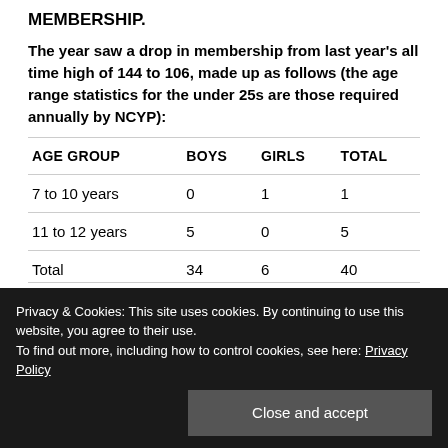MEMBERSHIP.
The year saw a drop in membership from last year's all time high of 144 to 106, made up as follows (the age range statistics for the under 25s are those required annually by NCYP):
| AGE GROUP | BOYS | GIRLS | TOTAL |
| --- | --- | --- | --- |
| 7 to 10 years | 0 | 1 | 1 |
| 11 to 12 years | 5 | 0 | 5 |
| Total | 34 | 6 | 40 |